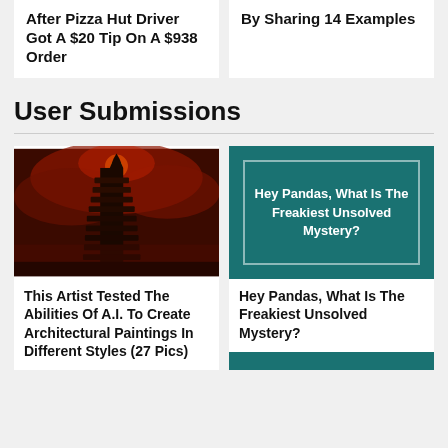After Pizza Hut Driver Got A $20 Tip On A $938 Order
By Sharing 14 Examples
User Submissions
[Figure (photo): Dark red sky with an imposing dark tower made of stacked debris, dramatic AI-generated architectural painting]
This Artist Tested The Abilities Of A.I. To Create Architectural Paintings In Different Styles (27 Pics)
[Figure (illustration): Teal/dark green card with white border and white centered text: Hey Pandas, What Is The Freakiest Unsolved Mystery?]
Hey Pandas, What Is The Freakiest Unsolved Mystery?